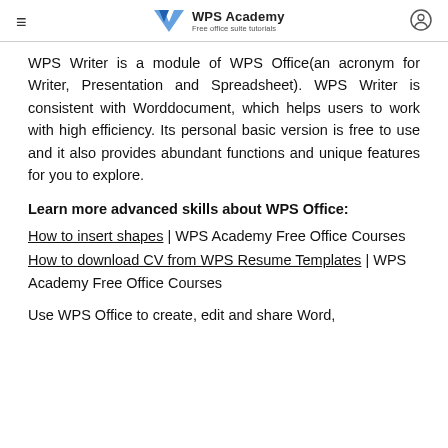WPS Academy — Free office suite tutorials
WPS Writer is a module of WPS Office(an acronym for Writer, Presentation and Spreadsheet). WPS Writer is consistent with Worddocument, which helps users to work with high efficiency. Its personal basic version is free to use and it also provides abundant functions and unique features for you to explore.
Learn more advanced skills about WPS Office:
How to insert shapes | WPS Academy Free Office Courses
How to download CV from WPS Resume Templates | WPS Academy Free Office Courses
Use WPS Office to create, edit and share Word,